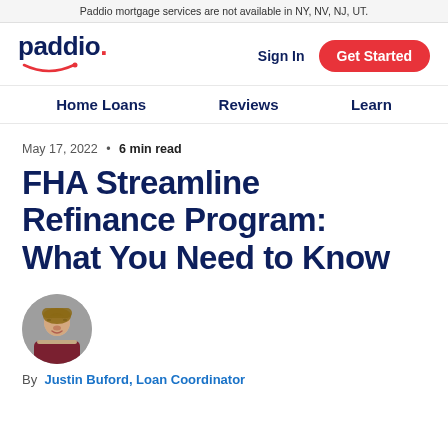Paddio mortgage services are not available in NY, NV, NJ, UT.
[Figure (logo): Paddio logo with red dot and smile underline]
Sign In
Get Started
Home Loans   Reviews   Learn
May 17, 2022 • 6 min read
FHA Streamline Refinance Program: What You Need to Know
[Figure (photo): Circular headshot photo of Justin Buford, a man with glasses and beard wearing a dark red shirt]
By  Justin Buford, Loan Coordinator